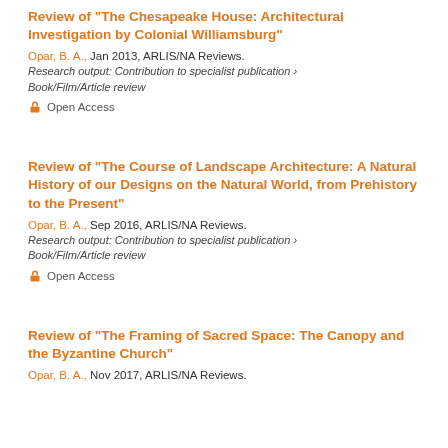Review of "The Chesapeake House: Architectural Investigation by Colonial Williamsburg"
Opar, B. A., Jan 2013, ARLIS/NA Reviews.
Research output: Contribution to specialist publication › Book/Film/Article review
Open Access
Review of "The Course of Landscape Architecture: A Natural History of our Designs on the Natural World, from Prehistory to the Present"
Opar, B. A., Sep 2016, ARLIS/NA Reviews.
Research output: Contribution to specialist publication › Book/Film/Article review
Open Access
Review of "The Framing of Sacred Space: The Canopy and the Byzantine Church"
Opar, B. A., Nov 2017, ARLIS/NA Reviews.